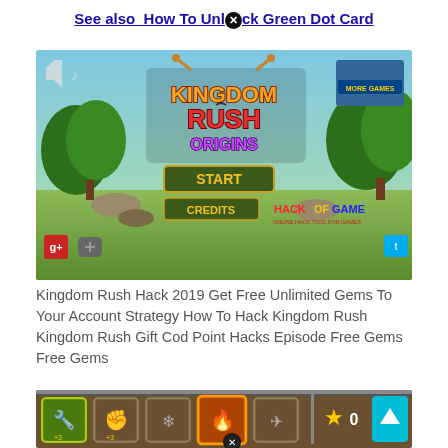See also  How To Unlock Green Dot Card
[Figure (screenshot): Kingdom Rush Origins game title screen showing 'KINGDOM RUSH ORIGINS' logo with START and CREDITS buttons, fantasy game art with character sprites, trees, and HackOfGame watermark]
Kingdom Rush Hack 2019 Get Free Unlimited Gems To Your Account Strategy How To Hack Kingdom Rush Kingdom Rush Gift Cod Point Hacks Episode Free Gems Free Gems
[Figure (screenshot): Kingdom Rush game interface showing inventory/skill slots bar at bottom with items, a star icon with 0 count, and a scroll-up arrow button]